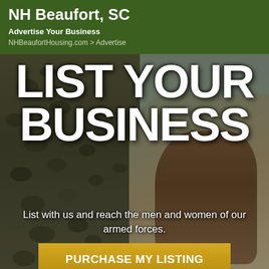NH Beaufort, SC
Advertise Your Business
NHBeaufortHousing.com > Advertise
[Figure (photo): A soldier in camouflage uniform standing next to a young girl with long brown hair, viewed from behind, with blurred green outdoor background. Large text overlay reads 'LIST YOUR BUSINESS' and 'List with us and reach the men and women of our armed forces.']
PURCHASE MY LISTING